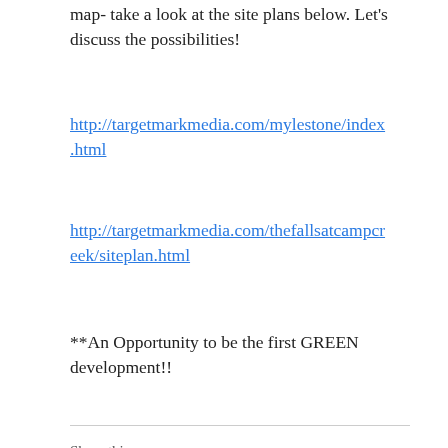map- take a look at the site plans below. Let's discuss the possibilities!
http://targetmarkmedia.com/mylestone/index.html
http://targetmarkmedia.com/thefallsatcampcreek/siteplan.html
**An Opportunity to be the first GREEN development!!
Share this:
Email | Facebook | LinkedIn | Print | Reddit | Pinterest | Tumblr | Twitter